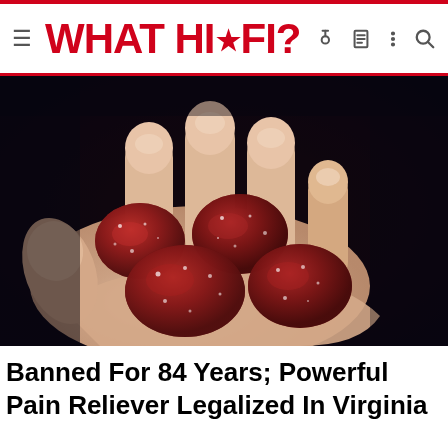≡ WHAT HI·FI?
[Figure (photo): A hand holding several red sugar-coated gummy candies against a dark background]
Banned For 84 Years; Powerful Pain Reliever Legalized In Virginia